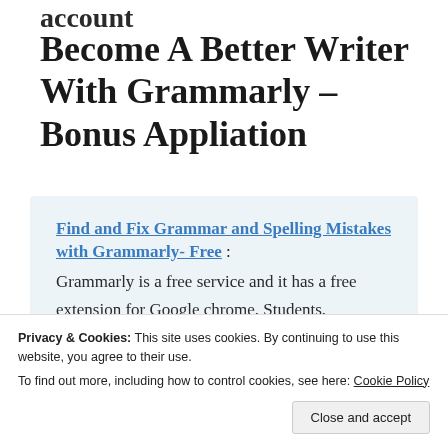account
Become A Better Writer With Grammarly – Bonus Appliation
Find and Fix Grammar and Spelling Mistakes with Grammarly- Free : Grammarly is a free service and it has a free extension for Google chrome. Students, professional writers, business people, bloggers, and people who just
Privacy & Cookies: This site uses cookies. By continuing to use this website, you agree to their use.
To find out more, including how to control cookies, see here: Cookie Policy
Close and accept